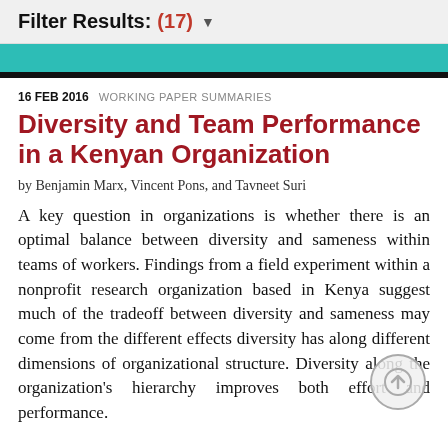Filter Results: (17) ▼
[Figure (other): Teal and black decorative bar at top of content area]
16 FEB 2016   WORKING PAPER SUMMARIES
Diversity and Team Performance in a Kenyan Organization
by Benjamin Marx, Vincent Pons, and Tavneet Suri
A key question in organizations is whether there is an optimal balance between diversity and sameness within teams of workers. Findings from a field experiment within a nonprofit research organization based in Kenya suggest much of the tradeoff between diversity and sameness may come from the different effects diversity has along different dimensions of organizational structure. Diversity along the organization's hierarchy improves both effort and performance.